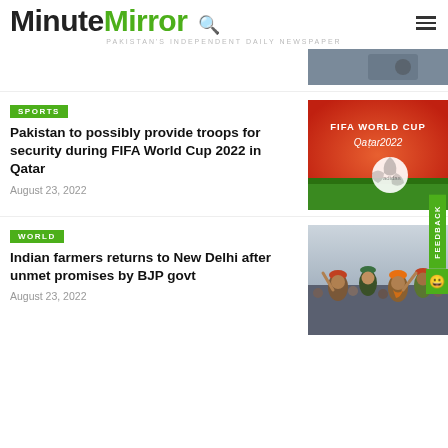MinuteMirror — PAKISTAN'S INDEPENDENT DAILY NEWSPAPER
[Figure (photo): Partial photo visible at top right corner, dark tones]
SPORTS
Pakistan to possibly provide troops for security during FIFA World Cup 2022 in Qatar
August 23, 2022
[Figure (photo): FIFA World Cup Qatar 2022 banner with official match ball on green grass]
WORLD
Indian farmers returns to New Delhi after unmet promises by BJP govt
August 23, 2022
[Figure (photo): Indian farmers protest crowd, men wearing turbans raising hands]